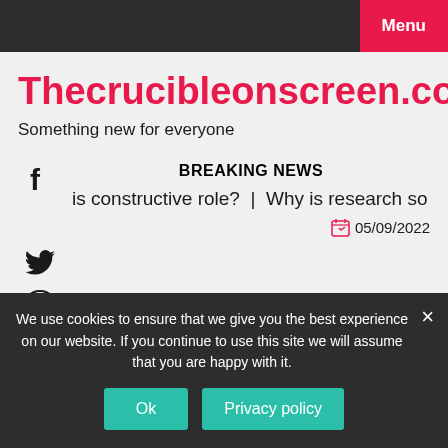Menu
Thecrucibleonscreen.com
Something new for everyone
BREAKING NEWS
is constructive role?  |  Why is research so important?  |  Did
05/09/2022
We use cookies to ensure that we give you the best experience on our website. If you continue to use this site we will assume that you are happy with it.